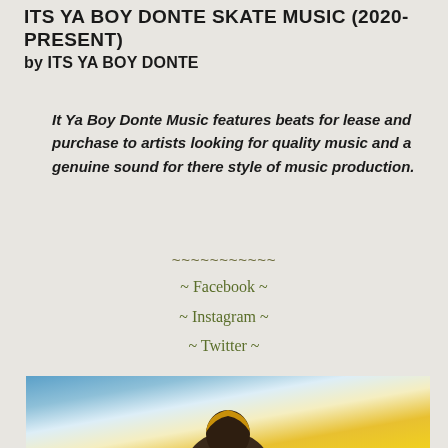ITS YA BOY DONTE SKATE MUSIC (2020-PRESENT)
by ITS YA BOY DONTE
It Ya Boy Donte Music features beats for lease and purchase to artists looking for quality music and a genuine sound for there style of music production.
~~~~~~~~~~~
~ Facebook ~
~ Instagram ~
~ Twitter ~
[Figure (photo): Portrait photo of a person with colorful blue, white, and yellow background. The subject appears in the lower center of the image against a vivid gradient background.]